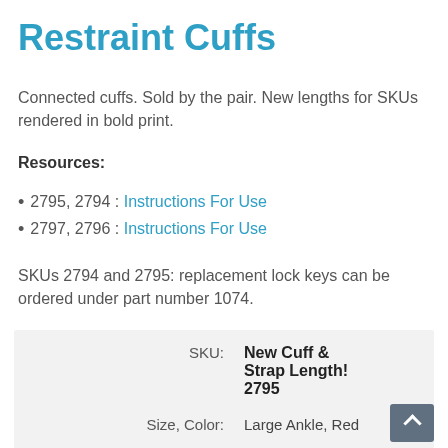Restraint Cuffs
Connected cuffs. Sold by the pair. New lengths for SKUs rendered in bold print.
Resources:
2795, 2794 : Instructions For Use
2797, 2796 : Instructions For Use
SKUs 2794 and 2795: replacement lock keys can be ordered under part number 1074.
| SKU: | New Cuff & Strap Length! 2795 |
| --- | --- |
| Size, Color: | Large Ankle, Red |
| Strap Attachment Point: | Bed |